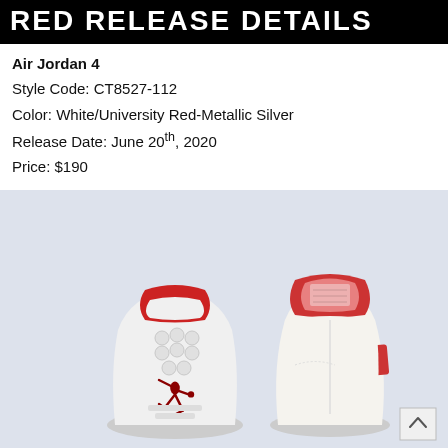RED RELEASE DETAILS
Air Jordan 4
Style Code: CT8527-112
Color: White/University Red-Metallic Silver
Release Date: June 20th, 2020
Price: $190
[Figure (photo): Two Air Jordan sneakers shown from the back/side on a light blue-grey background. Left shoe is an Air Jordan 4 in white with red Jumpman logo and red collar trim. Right shoe is an Air Jordan 1 in white with red ankle collar and red stripe detail.]